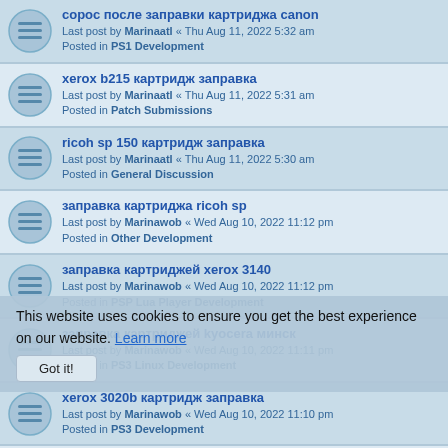сорос после заправки картриджа canon
Last post by Marinaatl « Thu Aug 11, 2022 5:32 am
Posted in PS1 Development
xerox b215 картридж заправка
Last post by Marinaatl « Thu Aug 11, 2022 5:31 am
Posted in Patch Submissions
ricoh sp 150 картридж заправка
Last post by Marinaatl « Thu Aug 11, 2022 5:30 am
Posted in General Discussion
заправка картриджа ricoh sp
Last post by Marinawob « Wed Aug 10, 2022 11:12 pm
Posted in Other Development
заправка картриджей xerox 3140
Last post by Marinawob « Wed Aug 10, 2022 11:12 pm
Posted in PSP Lua Player Development
заправка картриджей kyocera минск
Last post by Marinawob « Wed Aug 10, 2022 11:11 pm
Posted in PS3 Linux Development
xerox 3020b картридж заправка
Last post by Marinawob « Wed Aug 10, 2022 11:10 pm
Posted in PS3 Development
xerox b205 картридж заправка
Last post by Marinawob « Wed Aug 10, 2022 11:10 pm
Posted in PS2 Development
заправка цветных картриджей kyocera минск
Last post by Marinawob « Wed Aug 10, 2022 11:09 pm
Posted in PS1 Development